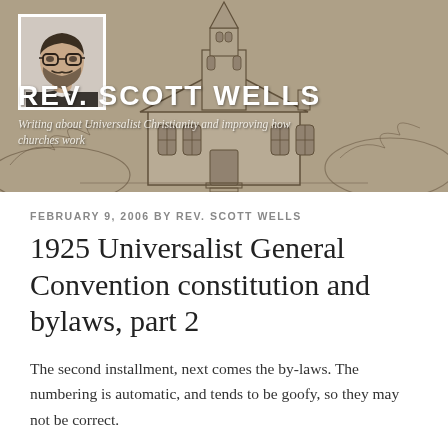[Figure (illustration): Blog header banner showing a pencil sketch of a church with a steeple, and a small portrait photo of a bearded man wearing glasses overlaid in the upper-left corner.]
REV. SCOTT WELLS
Writing about Universalist Christianity and improving how churches work
FEBRUARY 9, 2006 BY REV. SCOTT WELLS
1925 Universalist General Convention constitution and bylaws, part 2
The second installment, next comes the by-laws. The numbering is automatic, and tends to be goofy, so they may not be correct.